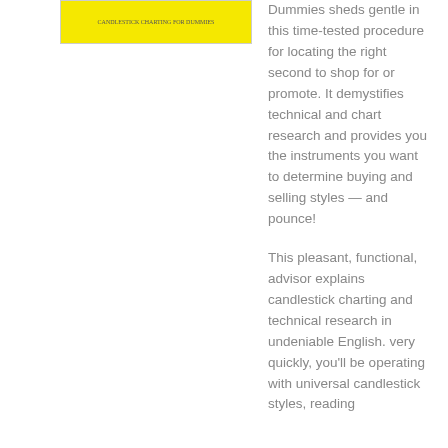[Figure (photo): Book cover of Candlestick Charting For Dummies with yellow background]
Dummies sheds gentle in this time-tested procedure for locating the right second to shop for or promote. It demystifies technical and chart research and provides you the instruments you want to determine buying and selling styles — and pounce!
This pleasant, functional, advisor explains candlestick charting and technical research in undeniable English. very quickly, you'll be operating with universal candlestick styles, reading
Show description
Read Online or Download Candlestick Charting For Dummies PDF